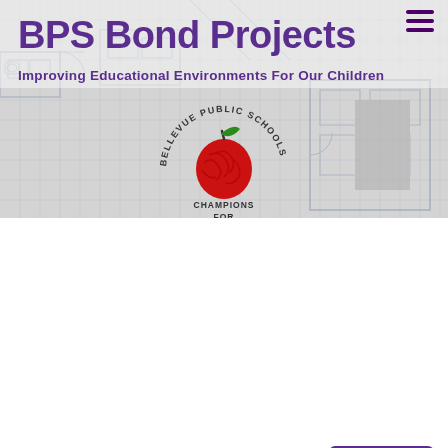BPS Bond Projects
Improving Educational Environments For Our Children
[Figure (logo): Bellevue Public Schools logo — circular text 'BELLEVUE PUBLIC SCHOOLS' around a red apple with green leaf, text below reads 'CHAMPIONS FOR CHILDREN']
BACK
CENTRAL ELEMENTARY
About Us
Established: 1955
Location: 510 W. 22nd Avenue
[Figure (logo): Central Elementary school logo — circular badge partially visible]